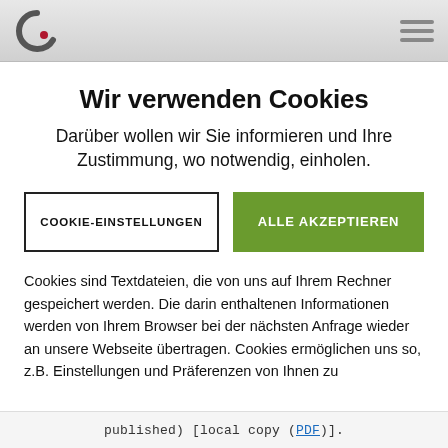[Logo] [Hamburger menu]
Wir verwenden Cookies
Darüber wollen wir Sie informieren und Ihre Zustimmung, wo notwendig, einholen.
COOKIE-EINSTELLUNGEN | ALLE AKZEPTIEREN
Cookies sind Textdateien, die von uns auf Ihrem Rechner gespeichert werden. Die darin enthaltenen Informationen werden von Ihrem Browser bei der nächsten Anfrage wieder an unsere Webseite übertragen. Cookies ermöglichen uns so, z.B. Einstellungen und Präferenzen von Ihnen zu
published) [local copy (PDF)].